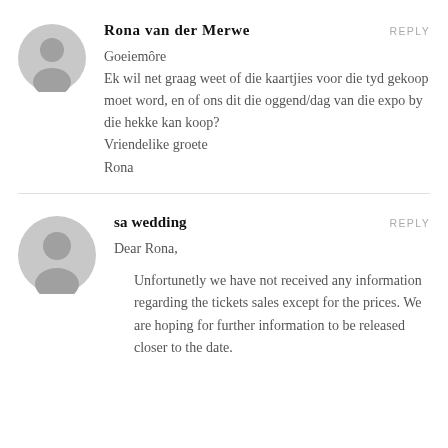Rona van der Merwe
REPLY
Goeiemôre
Ek wil net graag weet of die kaartjies voor die tyd gekoop moet word, en of ons dit die oggend/dag van die expo by die hekke kan koop?
Vriendelike groete
Rona
sa wedding
REPLY
Dear Rona,

Unfortunetly we have not received any information regarding the tickets sales except for the prices. We are hoping for further information to be released closer to the date.